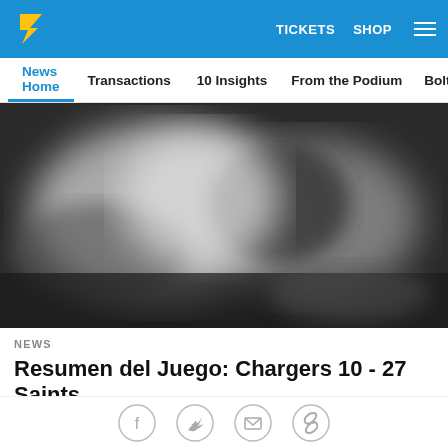TICKETS  SHOP  ☰
News Home  Transactions  10 Insights  From the Podium  Bolts
[Figure (photo): Blurred black and white action photo of an NFL football game, Chargers vs Saints]
NEWS
Resumen del Juego: Chargers 10 - 27 Saints